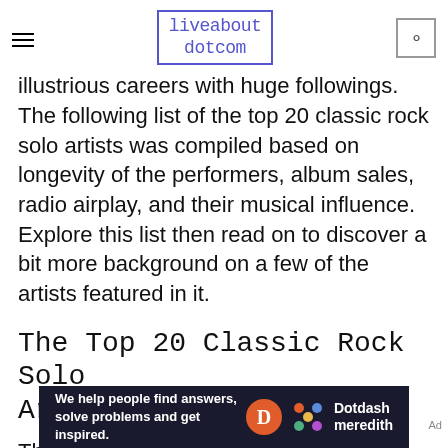liveabout dotcom
illustrious careers with huge followings. The following list of the top 20 classic rock solo artists was compiled based on longevity of the performers, album sales, radio airplay, and their musical influence. Explore this list then read on to discover a bit more background on a few of the artists featured in it.
The Top 20 Classic Rock Solo Artists List
The following presents the best of rock and roll's
[Figure (other): Dotdash Meredith advertisement banner: 'We help people find answers, solve problems and get inspired.']